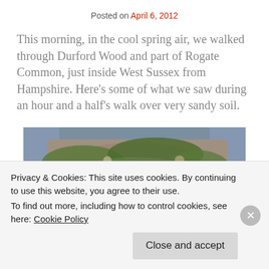Posted on April 6, 2012
This morning, in the cool spring air, we walked through Durford Wood and part of Rogate Common, just inside West Sussex from Hampshire. Here's some of what we saw during an hour and a half's walk over very sandy soil.
[Figure (photo): Close-up photograph of a moss-covered rock or wall with sandy/pebbly texture and green moss patches, with blurred background.]
Privacy & Cookies: This site uses cookies. By continuing to use this website, you agree to their use.
To find out more, including how to control cookies, see here: Cookie Policy
Close and accept